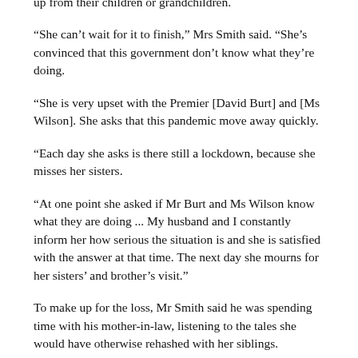up from their children or grandchildren.
“She can’t wait for it to finish,” Mrs Smith said. “She’s convinced that this government don’t know what they’re doing.
“She is very upset with the Premier [David Burt] and [Ms Wilson]. She asks that this pandemic move away quickly.
“Each day she asks is there still a lockdown, because she misses her sisters.
“At one point she asked if Mr Burt and Ms Wilson know what they are doing ... My husband and I constantly inform her how serious the situation is and she is satisfied with the answer at that time. The next day she mourns for her sisters’ and brother’s visit.”
To make up for the loss, Mr Smith said he was spending time with his mother-in-law, listening to the tales she would have otherwise rehashed with her siblings.
“I see she’s in the doldrums a bit, I try to make her laugh,” he said. “I’ve let her talk. I’ve learnt a lot about her childhood, her school days, how she brought her children up, her relationship with her parents, her siblings — and it’s been a joy.”